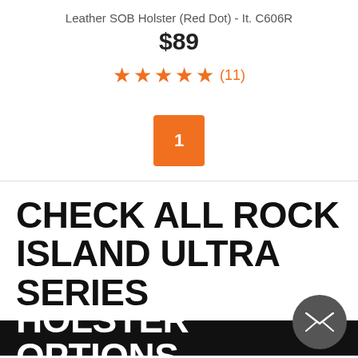Leather SOB Holster (Red Dot) - It. C606R
$89
[Figure (other): Star rating showing 4.5 out of 5 stars with 11 reviews]
[Figure (other): Orange quantity selector button showing the number 1]
CHECK ALL ROCK ISLAND ULTRA SERIES HOLSTER OPTIONS